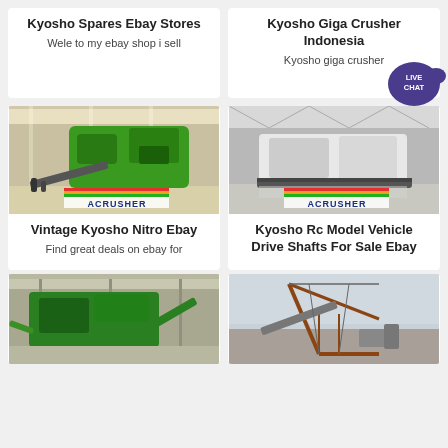Kyosho Spares Ebay Stores
Wele to my ebay shop i sell
Kyosho Giga Crusher Indonesia
Kyosho giga crusher
[Figure (photo): Green industrial crusher machine in factory - ACRUSHER Mining Equipment]
Vintage Kyosho Nitro Ebay
Find great deals on ebay for
[Figure (photo): White industrial crusher/mining machine in warehouse - ACRUSHER Mining Equipment]
Kyosho Rc Model Vehicle Drive Shafts For Sale Ebay
[Figure (photo): Green industrial crushing/screening equipment in factory]
[Figure (photo): Industrial crane or conveyor structure outdoors]